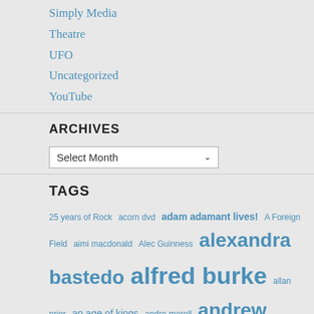Simply Media
Theatre
UFO
Uncategorized
YouTube
ARCHIVES
Select Month
TAGS
25 years of Rock acorn dvd adam adamant lives! A Foreign Field aimi macdonald Alec Guinness alexandra bastedo alfred burke allan prior an age of kings andre morell andrew bicknell andrew burt andrew davies andy rashleigh an englishman's castle angela bruce angela douglas angels anneke wills ann lynn anouska hempel anthony bate anthony newley anthony perkins anthony valentine anton rodgers an unearthly child are you being served arthur c. clarke's mysterious